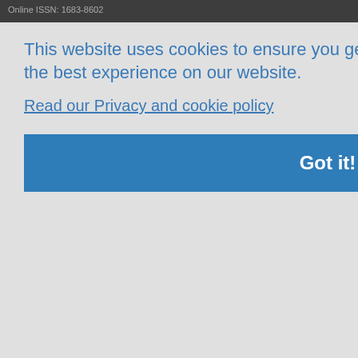Online ISSN: 1683-8602
This website uses cookies to ensure you get the best experience on our website.
Read our Privacy and cookie policy
Got it!
Submit
OA Policy
Become a Peer-reviewer
Contact us
JDS@ruc.edu.cn
No. 59 Zhongguancun Street, Haidian District Beijing, 100872, P.R.
Powered by PubliMill • Privacy policy